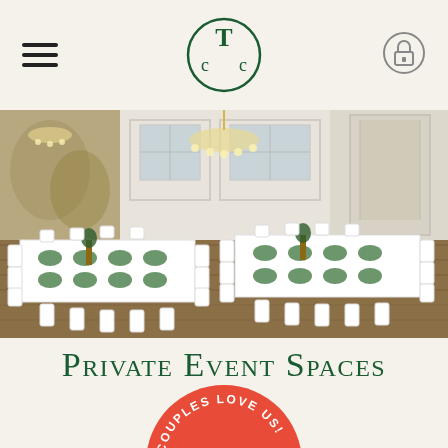CTC logo, hamburger menu, lock icon
[Figure (photo): Interior of an elegant event/banquet hall with white long tables set for a formal dinner, white chiavari chairs, green plate chargers, floral centerpieces, chandelier, large windows and white paneled walls with ornate murals.]
Private Event Spaces
[Figure (logo): The Knot 'Couples Love Us!' badge — circular red badge with white text reading COUPLES LOVE US! around the top and 'the knot' in white script at the bottom.]